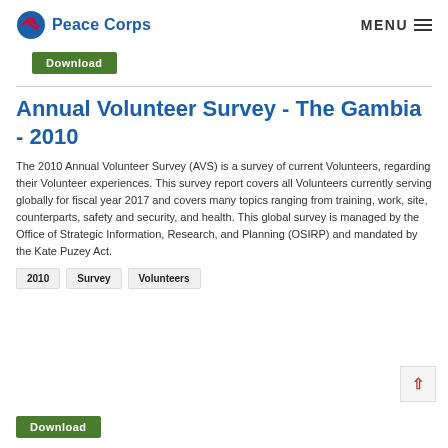Peace Corps | MENU
Download
Annual Volunteer Survey - The Gambia - 2010
The 2010 Annual Volunteer Survey (AVS) is a survey of current Volunteers, regarding their Volunteer experiences. This survey report covers all Volunteers currently serving globally for fiscal year 2017 and covers many topics ranging from training, work, site, counterparts, safety and security, and health. This global survey is managed by the Office of Strategic Information, Research, and Planning (OSIRP) and mandated by the Kate Puzey Act.
2010
Survey
Volunteers
Download